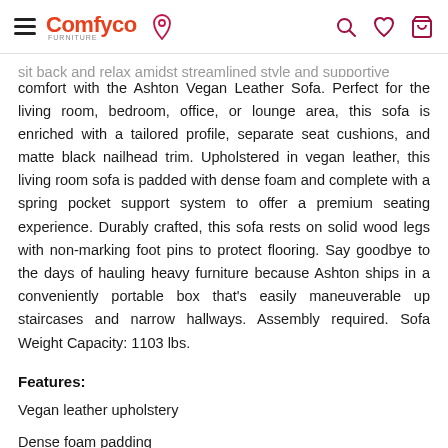Comfyco [hamburger menu, location pin, search, wishlist, cart icons]
Sit back and relax amidst streamlined style and supportive comfort with the Ashton Vegan Leather Sofa. Perfect for the living room, bedroom, office, or lounge area, this sofa is enriched with a tailored profile, separate seat cushions, and matte black nailhead trim. Upholstered in vegan leather, this living room sofa is padded with dense foam and complete with a spring pocket support system to offer a premium seating experience. Durably crafted, this sofa rests on solid wood legs with non-marking foot pins to protect flooring. Say goodbye to the days of hauling heavy furniture because Ashton ships in a conveniently portable box that's easily maneuverable up staircases and narrow hallways. Assembly required. Sofa Weight Capacity: 1103 lbs.
Features:
Vegan leather upholstery
Dense foam padding
Spring pocket support system